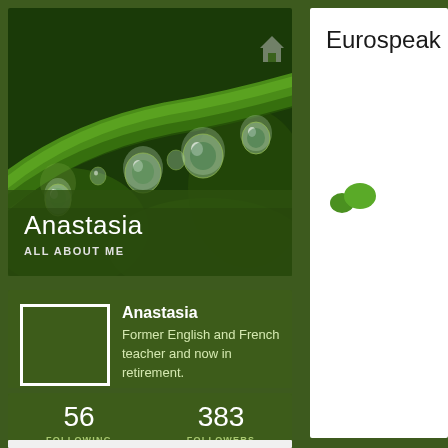[Figure (photo): Close-up macro photo of green plant stem with water droplets/dewdrops hanging from it against a dark green background]
Anastasia
ALL ABOUT ME
[Figure (photo): User avatar placeholder box with white border outline]
Anastasia
Former English and French teacher and now in retirement.
56 FOLLOWING
383 FOLLOWERS
Eurospeak